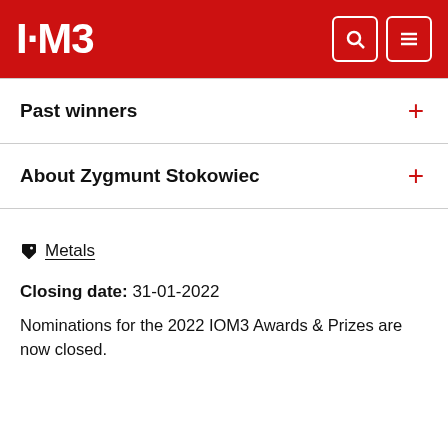I·M3
Past winners
About Zygmunt Stokowiec
Metals
Closing date: 31-01-2022
Nominations for the 2022 IOM3 Awards & Prizes are now closed.